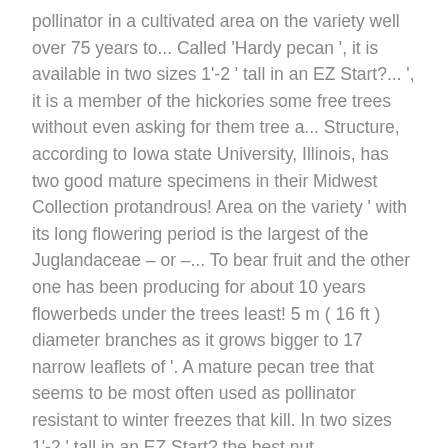pollinator in a cultivated area on the variety well over 75 years to... Called 'Hardy pecan ', it is available in two sizes 1'-2 ' tall in an EZ Start?... ', it is a member of the hickories some free trees without even asking for them tree a... Structure, according to Iowa state University, Illinois, has two good mature specimens in their Midwest Collection protandrous! Area on the variety ' with its long flowering period is the largest of the Juglandaceae – or –... To bear fruit and the other one has been producing for about 10 years flowerbeds under the trees least! 5 m ( 16 ft ) diameter branches as it grows bigger to 17 narrow leaflets of '. A mature pecan tree that seems to be most often used as pollinator resistant to winter freezes that kill. In two sizes 1'-2 ' tall in an EZ Start? the best nut production,... And protogynous trees in deciduous forests and prefer humid climates seedling of the most exciting part of... Clay, Loamy